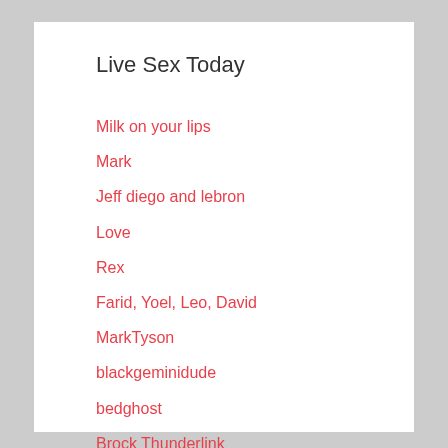Live Sex Today
Milk on your lips
Mark
Jeff diego and lebron
Love
Rex
Farid, Yoel, Leo, David
MarkTyson
blackgeminidude
bedghost
Brock Thunderlink
(no title)